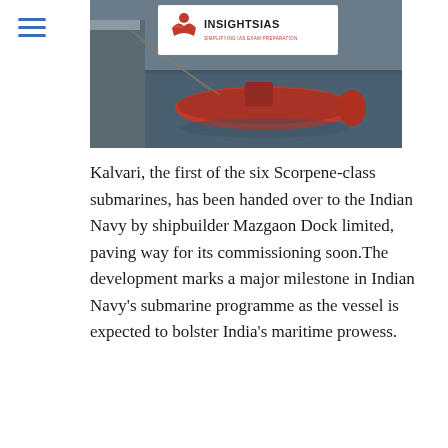[Figure (photo): Photo of a Scorpene-class submarine (Kalvari) in water at a dock, with the Insights IAS logo overlaid on top of the image. The submarine is red/dark colored partially submerged.]
Kalvari, the first of the six Scorpene-class submarines, has been handed over to the Indian Navy by shipbuilder Mazgaon Dock limited, paving way for its commissioning soon.The development marks a major milestone in Indian Navy's submarine programme as the vessel is expected to bolster India's maritime prowess.